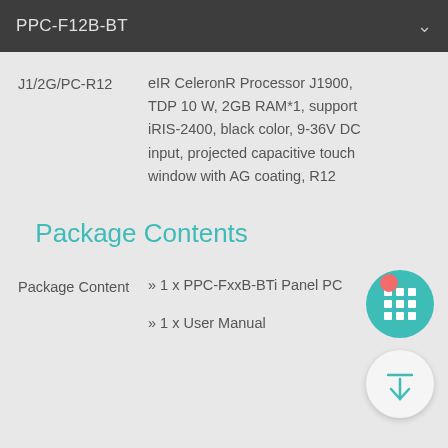PPC-F12B-BT
|  |  |
| --- | --- |
| J1/2G/PC-R12 | eIR CeleronR Processor J1900, TDP 10 W, 2GB RAM*1, support iRIS-2400, black color, 9-36V DC input, projected capacitive touch window with AG coating, R12 |
Package Contents
Package Content
» 1 x PPC-FxxB-BTi Panel PC
» 1 x User Manual